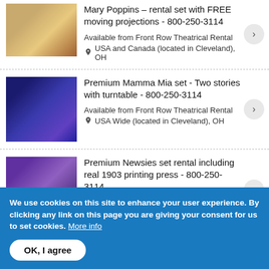Mary Poppins – rental set with FREE moving projections - 800-250-3114
Available from Front Row Theatrical Rental
USA and Canada (located in Cleveland), OH
Premium Mamma Mia set - Two stories with turntable - 800-250-3114
Available from Front Row Theatrical Rental
USA Wide (located in Cleveland), OH
Premium Newsies set rental including real 1903 printing press - 800-250-3114
Available from Front Row Theatrical Rental
USA Wide (located in Cleveland), OH
We use cookies on this site to enhance your user experience. By clicking any link on this page you are giving your consent for us to set cookies. More info